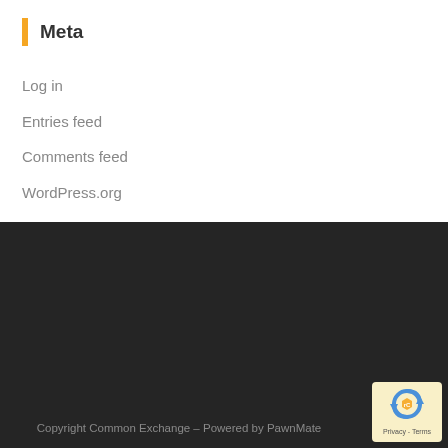Meta
Log in
Entries feed
Comments feed
WordPress.org
Copyright Common Exchange – Powered by PawnMate